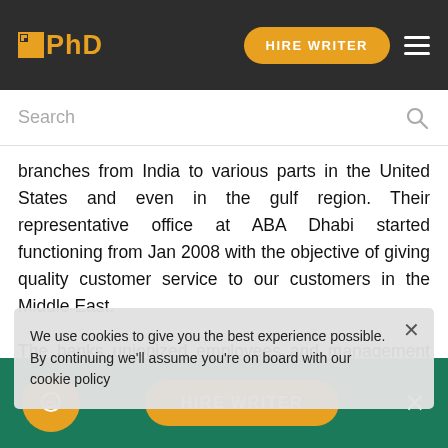IPhD | HIRE WRITER
Search
branches from India to various parts in the United States and even in the gulf region. Their representative office at ABA Dhabi started functioning from Jan 2008 with the objective of giving quality customer service to our customers in the Middle East.
The banks unionized employees and management have historically been at loggerheads and, thus in terms of employee... performance... taking various steps to improve employee productivity – It has started training its employees to upgrade skill sets and
We use cookies to give you the best experience possible. By continuing we'll assume you're on board with our cookie policy
HIRE WRITER